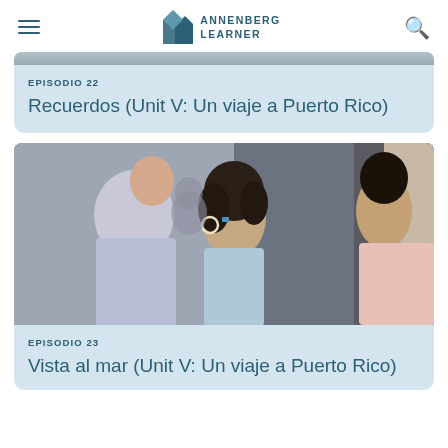ANNENBERG LEARNER
EPISODIO 22
Recuerdos (Unit V: Un viaje a Puerto Rico)
[Figure (photo): A man in a light blue shirt smiling at a woman with dark curly hair and hoop earrings, with another person visible in the background, from a Spanish-language educational video]
EPISODIO 23
Vista al mar (Unit V: Un viaje a Puerto Rico)